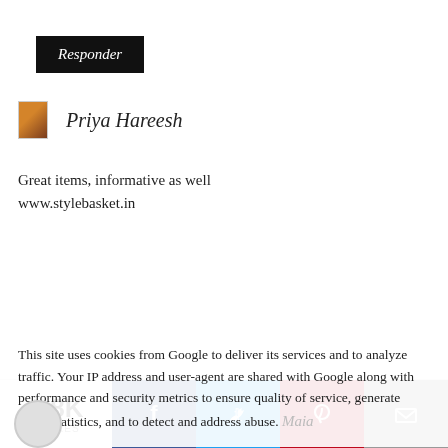[Figure (other): Black button labeled 'Responder' in italic white text]
Priya Hareesh
Great items, informative as well
www.stylebasket.in
This site uses cookies from Google to deliver its services and to analyze traffic. Your IP address and user-agent are shared with Google along with performance and security metrics to ensure quality of service, generate usage statistics, and to detect and address abuse.
1.8K
SHARES